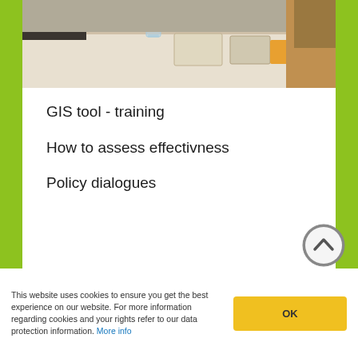[Figure (photo): A photograph showing a conference table setting with a glass of water, notebooks, and chairs. A person is partially visible in the background.]
GIS tool - training
How to assess effectivness
Policy dialogues
This website uses cookies to ensure you get the best experience on our website. For more information regarding cookies and your rights refer to our data protection information. More info